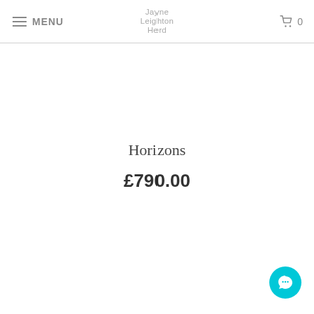≡ MENU   Jayne Leighton Herd   🛒 0
Horizons
£790.00